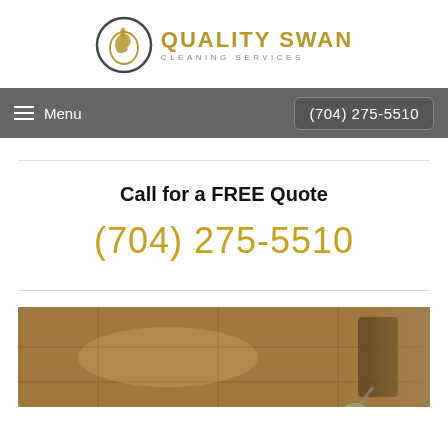[Figure (logo): Quality Swan Cleaning Services logo with circular swan emblem and gold text]
Menu  (704) 275-5510
Call for a FREE Quote
(704) 275-5510
[Figure (photo): Photo of a person mopping or cleaning a hardwood/tile floor]